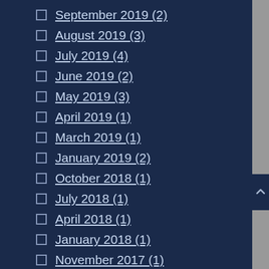September 2019 (2)
August 2019 (3)
July 2019 (4)
June 2019 (2)
May 2019 (3)
April 2019 (1)
March 2019 (1)
January 2019 (2)
October 2018 (1)
July 2018 (1)
April 2018 (1)
January 2018 (1)
November 2017 (1)
August 2017 (1)